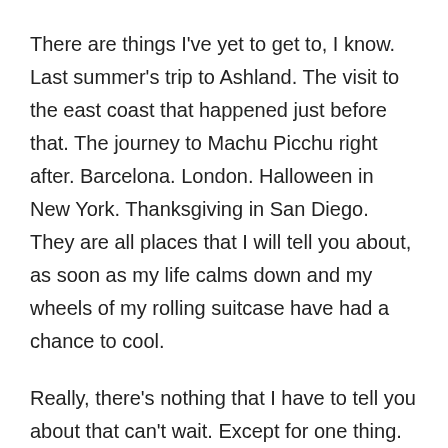There are things I've yet to get to, I know. Last summer's trip to Ashland. The visit to the east coast that happened just before that. The journey to Machu Picchu right after. Barcelona. London. Halloween in New York. Thanksgiving in San Diego. They are all places that I will tell you about, as soon as my life calms down and my wheels of my rolling suitcase have had a chance to cool.
Really, there's nothing that I have to tell you about that can't wait. Except for one thing. Something of such importance, that I'm amazed I didn't write about it sooner.